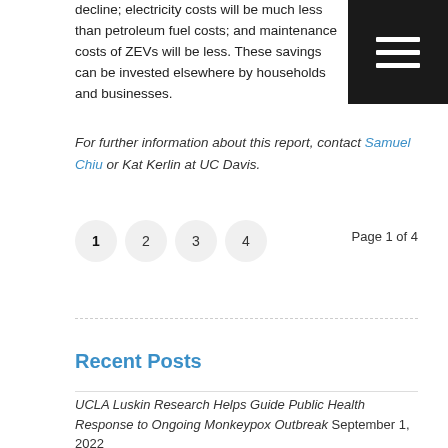decline; electricity costs will be much less than petroleum fuel costs; and maintenance costs of ZEVs will be less. These savings can be invested elsewhere by households and businesses.
For further information about this report, contact Samuel Chiu or Kat Kerlin at UC Davis.
Page 1 of 4
Recent Posts
UCLA Luskin Research Helps Guide Public Health Response to Ongoing Monkeypox Outbreak September 1, 2022